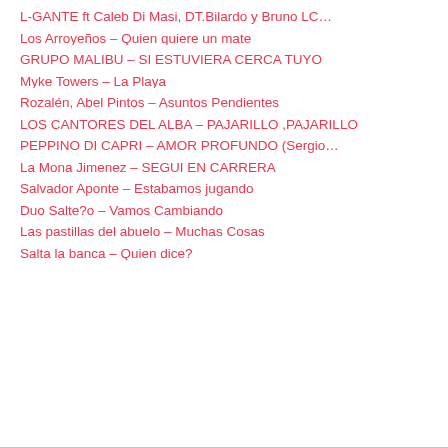L-GANTE ft Caleb Di Masi, DT.Bilardo y Bruno LC…
Los Arroyeños – Quien quiere un mate
GRUPO MALIBU – SI ESTUVIERA CERCA TUYO
Myke Towers – La Playa
Rozalén, Abel Pintos – Asuntos Pendientes
LOS CANTORES DEL ALBA – PAJARILLO ,PAJARILLO
PEPPINO DI CAPRI – AMOR PROFUNDO (Sergio…
La Mona Jimenez – SEGUI EN CARRERA
Salvador Aponte – Estabamos jugando
Duo Salte?o – Vamos Cambiando
Las pastillas del abuelo – Muchas Cosas
Salta la banca – Quien dice?